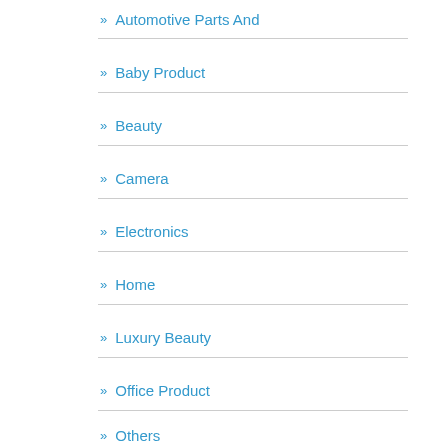» Automotive Parts And
» Baby Product
» Beauty
» Camera
» Electronics
» Home
» Luxury Beauty
» Office Product
» Others
» Personal Computer
» Toy
» Uncategorized
» Wireless